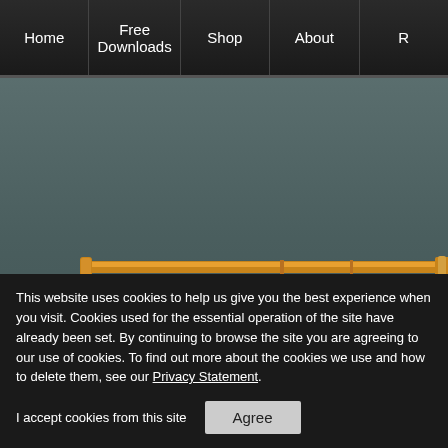Home | Free Downloads | Shop | About | R
[Figure (screenshot): Website hero/banner area with dark teal-grey gradient background and a gold horizontal guitar neck/bar graphic element]
Home > CD Reviews > Witch Tripper - 'Witch Tripper'
🔒 MEMBER LOGIN
👥 WELCOME TO THE
This website uses cookies to help us give you the best experience when you visit. Cookies used for the essential operation of the site have already been set. By continuing to browse the site you are agreeing to our use of cookies. To find out more about the cookies we use and how to delete them, see our Privacy Statement.
I accept cookies from this site
Agree